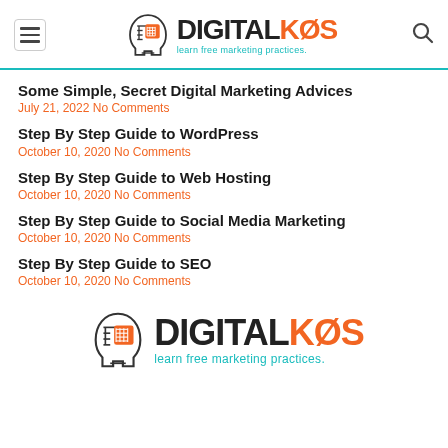DIGITALKOS - learn free marketing practices
Some Simple, Secret Digital Marketing Advices
July 21, 2022 No Comments
Step By Step Guide to WordPress
October 10, 2020 No Comments
Step By Step Guide to Web Hosting
October 10, 2020 No Comments
Step By Step Guide to Social Media Marketing
October 10, 2020 No Comments
Step By Step Guide to SEO
October 10, 2020 No Comments
[Figure (logo): DIGITALKOS logo with tagline 'learn free marketing practices' at bottom of page]